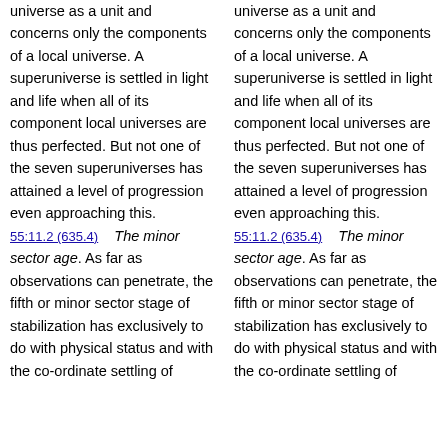universe as a unit and concerns only the components of a local universe. A superuniverse is settled in light and life when all of its component local universes are thus perfected. But not one of the seven superuniverses has attained a level of progression even approaching this.
55:11.2 (635.4) The minor sector age. As far as observations can penetrate, the fifth or minor sector stage of stabilization has exclusively to do with physical status and with the co-ordinate settling of
universe as a unit and concerns only the components of a local universe. A superuniverse is settled in light and life when all of its component local universes are thus perfected. But not one of the seven superuniverses has attained a level of progression even approaching this.
55:11.2 (635.4) The minor sector age. As far as observations can penetrate, the fifth or minor sector stage of stabilization has exclusively to do with physical status and with the co-ordinate settling of